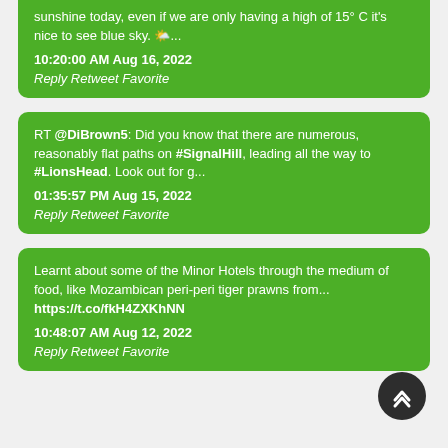sunshine today, even if we are only having a high of 15° C it's nice to see blue sky. 🌤️...
10:20:00 AM Aug 16, 2022
Reply Retweet Favorite
RT @DiBrown5: Did you know that there are numerous, reasonably flat paths on #SignalHill, leading all the way to #LionsHead. Look out for g...
01:35:57 PM Aug 15, 2022
Reply Retweet Favorite
Learnt about some of the Minor Hotels through the medium of food, like Mozambican peri-peri tiger prawns from... https://t.co/fkH4ZXKhNN
10:48:07 AM Aug 12, 2022
Reply Retweet Favorite